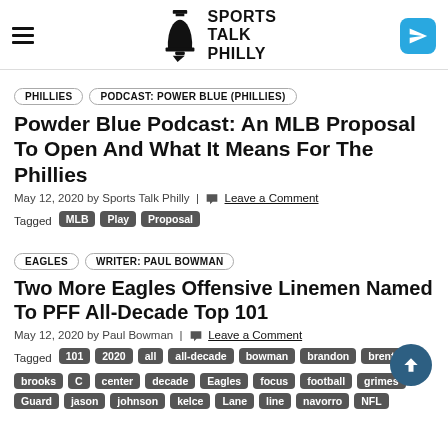[Figure (logo): Sports Talk Philly logo with Liberty Bell icon and bold text]
PHILLIES  PODCAST: POWER BLUE (PHILLIES)
Powder Blue Podcast: An MLB Proposal To Open And What It Means For The Phillies
May 12, 2020 by Sports Talk Philly | Leave a Comment
Tagged MLB Play Proposal
EAGLES  WRITER: PAUL BOWMAN
Two More Eagles Offensive Linemen Named To PFF All-Decade Top 101
May 12, 2020 by Paul Bowman | Leave a Comment
Tagged 101 2020 all all-decade bowman brandon brent brooks C center decade Eagles focus football grimes Guard jason johnson kelce Lane line navorro NFL